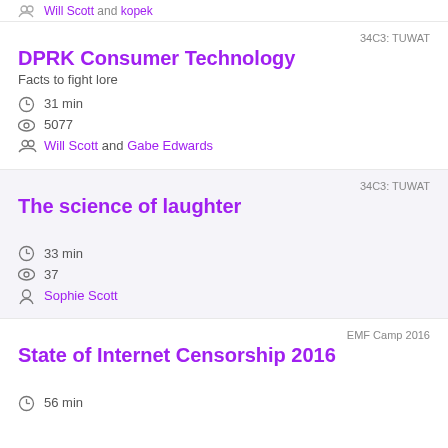Will Scott and kopek
34C3: TUWAT
DPRK Consumer Technology
Facts to fight lore
31 min
5077
Will Scott and Gabe Edwards
34C3: TUWAT
The science of laughter
33 min
37
Sophie Scott
EMF Camp 2016
State of Internet Censorship 2016
56 min